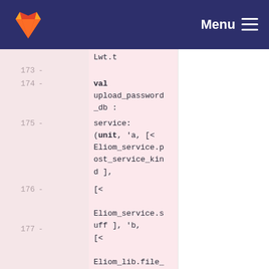GitLab — Menu
[Figure (screenshot): GitLab code diff view showing lines 173-177 of OCaml source code with deleted lines marked in pink. Line 173: blank deleted line. Line 174: 'val upload_password_db :'. Line 175: 'service: (unit, 'a, [< Eliom_service.post_service_kind ],'. Line 176: '[< Eliom_service.suff ], 'b,'. Line 177: '[< Eliom_lib.file_info Eliom_parameter.setoneradio ]'.]